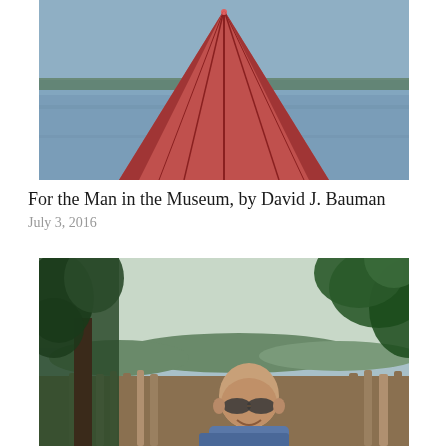[Figure (photo): View from inside a red kayak looking forward over the bow toward open water]
For the Man in the Museum, by David J. Bauman
July 3, 2016
[Figure (photo): A smiling bald man wearing sunglasses and a blue shirt, standing in front of a bamboo fence with tropical trees and a body of water in the background]